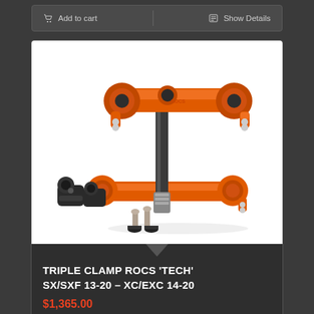Add to cart   Show Details
[Figure (photo): Orange anodized aluminum triple clamp set (ROCS TECH) for KTM motorcycles, shown with black handlebar mounts, bolts, and rubber spacers on white background]
TRIPLE CLAMP ROCS 'TECH' SX/SXF 13-20 – XC/EXC 14-20
$1,365.00